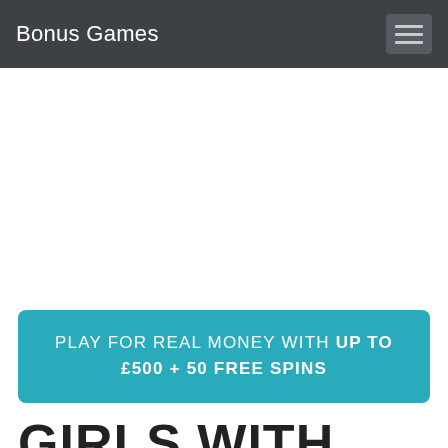Bonus Games
PLAY FOR REAL MONEY WITH UP TO £500 + 50 FREE SPINS
GIRLS WITH GUNS